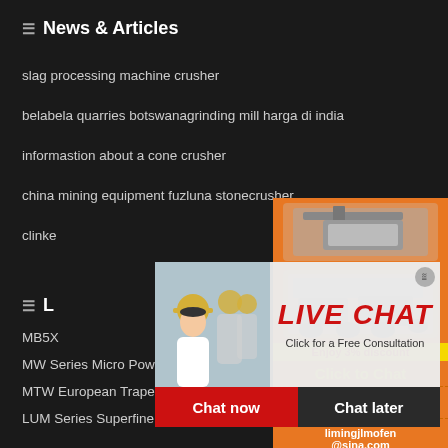News & Articles
slag processing machine crusher
belabela quarries botswanagrinding mill harga di india
informastion about a cone crusher
china mining equipment fuzluna stonecrusher
clinke...
L...
MB5X...
MW Series Micro Powder Mill
MTW European Trapezium Mill
LUM Series Superfine Vertical R
T130X Superfine Grinding Mill
TGM Super Pressure Trapezium Mi
[Figure (screenshot): Live chat popup overlay with workers in hard hats photo, LIVE CHAT title in red italic, Chat now (red) and Chat later (dark) buttons]
[Figure (screenshot): Right sidebar orange panel with mining machine images, Enjoy 3% discount / Click to Chat yellow text, Enquiry button, limingjlmofen@sina.com email]